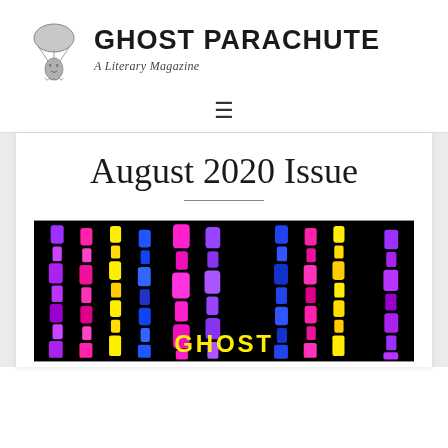[Figure (logo): Ghost Parachute literary magazine logo: a small ghost figure with X eyes attached to a parachute, metallic/sculptural object]
GHOST PARACHUTE
A Literary Magazine
[Figure (other): Hamburger navigation menu icon (three horizontal lines)]
August 2020 Issue
[Figure (illustration): Ghost Parachute August 2020 issue cover art: black background with colorful abstract vertical shapes in purple, magenta, blue, yellow. Text 'GHOST PARACHUTE' in yellow at bottom.]